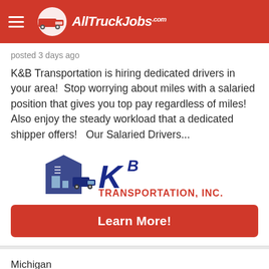AllTruckJobs.com
posted 3 days ago
K&B Transportation is hiring dedicated drivers in your area!  Stop worrying about miles with a salaried position that gives you top pay regardless of miles!  Also enjoy the steady workload that a dedicated shipper offers!   Our Salaried Drivers...
[Figure (logo): K&B Transportation, Inc. company logo with truck graphic]
Learn More!
Michigan
Dedicated Drivers in Michigan - Earn Up to $1575 Weekly